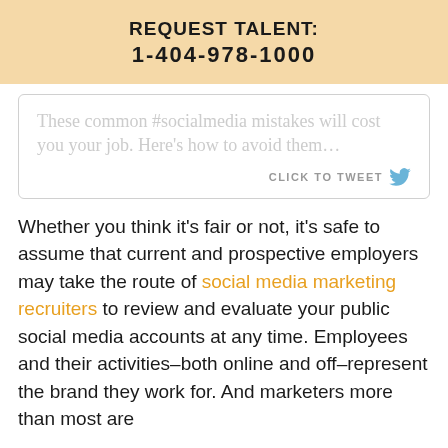REQUEST TALENT:
1-404-978-1000
These common #socialmedia mistakes will cost you your job. Here’s how to avoid them…
CLICK TO TWEET
Whether you think it’s fair or not, it’s safe to assume that current and prospective employers may take the route of social media marketing recruiters to review and evaluate your public social media accounts at any time. Employees and their activities–both online and off–represent the brand they work for. And marketers more than most are